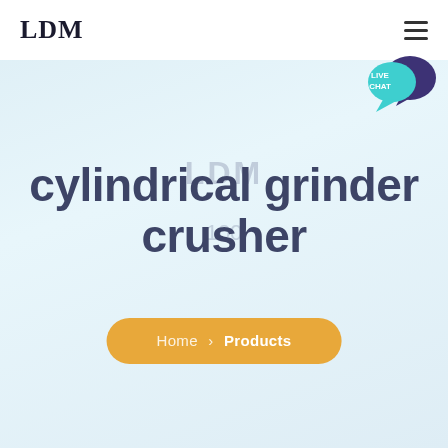LDM
[Figure (illustration): Live Chat speech bubble icon in teal/cyan color with dark purple chat bubble behind, labeled LIVE CHAT]
cylindrical grinder crusher
Home > Products